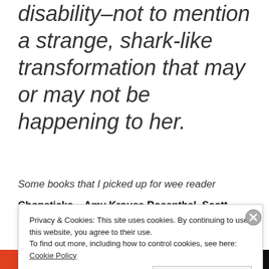disability–not to mention a strange, shark-like transformation that may or may not be happening to her.
Some books that I picked up for wee reader
Chopsticks – Amy Krouse Rosenthal, Scott
Privacy & Cookies: This site uses cookies. By continuing to use this website, you agree to their use. To find out more, including how to control cookies, see here: Cookie Policy
Close and accept